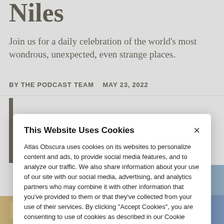Niles
Join us for a daily celebration of the world's most wondrous, unexpected, even strange places.
BY THE PODCAST TEAM   MAY 23, 2022
[Figure (screenshot): Cookie consent modal dialog overlay on Atlas Obscura website. The modal contains a title 'This Website Uses Cookies', body text about cookie usage and data sharing, a close button (×), and two action buttons: 'Manage Preferences' and 'Allow Cookies'.]
This Website Uses Cookies
Atlas Obscura uses cookies on its websites to personalize content and ads, to provide social media features, and to analyze our traffic. We also share information about your use of our site with our social media, advertising, and analytics partners who may combine it with other information that you've provided to them or that they've collected from your use of their services. By clicking "Accept Cookies", you are consenting to use of cookies as described in our Cookie Policy. View Cookie Policy